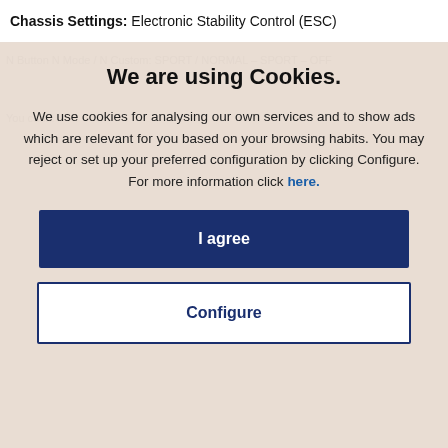Chassis Settings: Electronic Stability Control (ESC)
We are using Cookies.
We use cookies for analysing our own services and to show ads which are relevant for you based on your browsing habits. You may reject or set up your preferred configuration by clicking Configure. For more information click here.
I agree
Configure